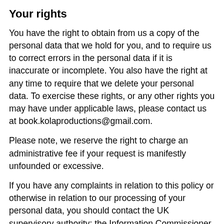Your rights
You have the right to obtain from us a copy of the personal data that we hold for you, and to require us to correct errors in the personal data if it is inaccurate or incomplete. You also have the right at any time to require that we delete your personal data. To exercise these rights, or any other rights you may have under applicable laws, please contact us at book.kolaproductions@gmail.com.
Please note, we reserve the right to charge an administrative fee if your request is manifestly unfounded or excessive.
If you have any complaints in relation to this policy or otherwise in relation to our processing of your personal data, you should contact the UK supervisory authority: the Information Commissioner, see www.ico.org.uk.
Our event ticket shop may contain links to other sites of interest. Once you have used these links to leave our event ticket shop, you should note that we do not have any control over that other site. Therefore, we cannot be responsible for the protection and privacy of any information which you provide whilst visiting such sites and such sites are not governed by this policy. You should exercise caution and look at the privacy policy applicable to the site in question.